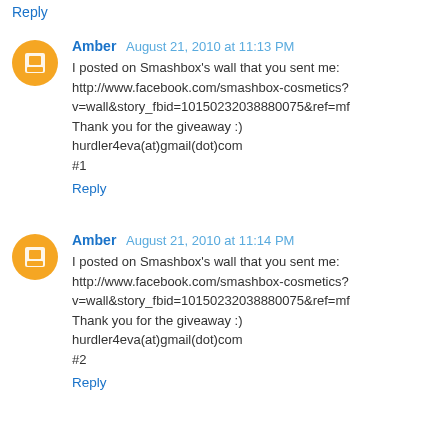Reply
Amber  August 21, 2010 at 11:13 PM
I posted on Smashbox's wall that you sent me: http://www.facebook.com/smashbox-cosmetics?v=wall&story_fbid=10150232038880075&ref=mf
Thank you for the giveaway :)
hurdler4eva(at)gmail(dot)com
#1
Reply
Amber  August 21, 2010 at 11:14 PM
I posted on Smashbox's wall that you sent me: http://www.facebook.com/smashbox-cosmetics?v=wall&story_fbid=10150232038880075&ref=mf
Thank you for the giveaway :)
hurdler4eva(at)gmail(dot)com
#2
Reply